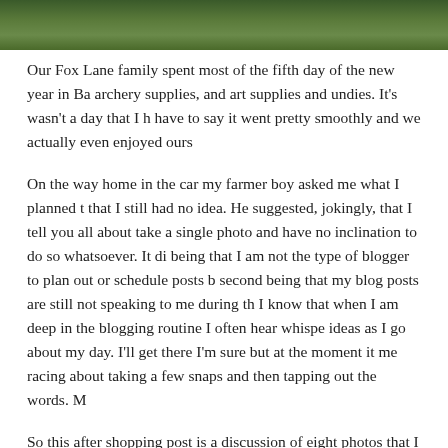[Figure (photo): A close-up photo of green foliage, possibly leaves or plant material, with dark elements visible.]
Our Fox Lane family spent most of the fifth day of the new year in Ba... archery supplies, and art supplies and undies. It's wasn't a day that I h... have to say it went pretty smoothly and we actually even enjoyed ours...
On the way home in the car my farmer boy asked me what I planned t... that I still had no idea. He suggested, jokingly, that I tell you all about ... take a single photo and have no inclination to do so whatsoever. It di... being that I am not the type of blogger to plan out or schedule posts b... second being that my blog posts are still not speaking to me during th... I know that when I am deep in the blogging routine I often hear whispe... ideas as I go about my day. I'll get there I'm sure but at the moment it... me racing about taking a few snaps and then tapping out the words. M...
So this after shopping post is a discussion of eight photos that I just s...
The first is a photo of a quince, still a while off but beautifully fuzzy an... trees this year but looking at them I can almost smell that sweet arom...